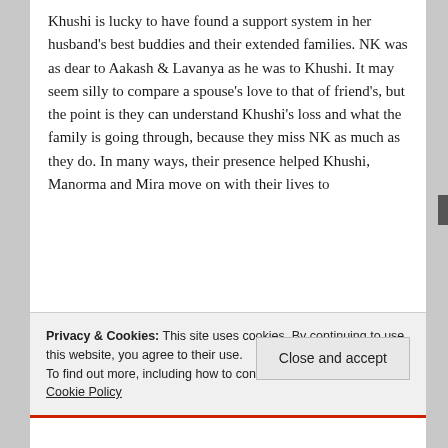Khushi is lucky to have found a support system in her husband's best buddies and their extended families. NK was as dear to Aakash & Lavanya as he was to Khushi. It may seem silly to compare a spouse's love to that of friend's, but the point is they can understand Khushi's loss and what the family is going through, because they miss NK as much as they do. In many ways, their presence helped Khushi, Manorma and Mira move on with their lives to
Privacy & Cookies: This site uses cookies. By continuing to use this website, you agree to their use.
To find out more, including how to control cookies, see here: Cookie Policy
Close and accept